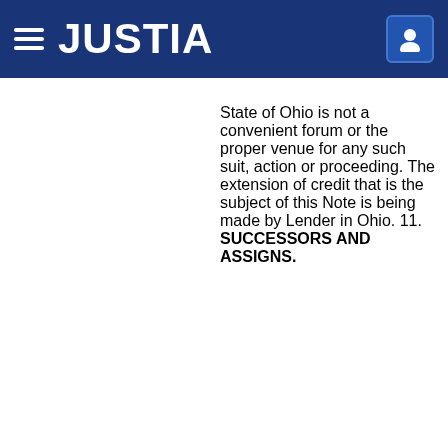JUSTIA
State of Ohio is not a convenient forum or the proper venue for any such suit, action or proceeding. The extension of credit that is the subject of this Note is being made by Lender in Ohio. 11. SUCCESSORS AND ASSIGNS.